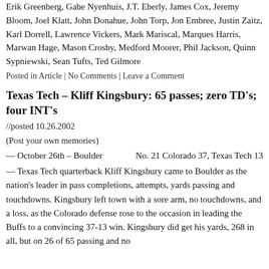Erik Greenberg, Gabe Nyenhuis, J.T. Eberly, James Cox, Jeremy Bloom, Joel Klatt, John Donahue, John Torp, Jon Embree, Justin Zaitz, Karl Dorrell, Lawrence Vickers, Mark Mariscal, Marques Harris, Marwan Hage, Mason Crosby, Medford Moorer, Phil Jackson, Quinn Sypniewski, Sean Tufts, Ted Gilmore
Posted in Article | No Comments | Leave a Comment
Texas Tech – Kliff Kingsbury: 65 passes; zero TD's; four INT's
//posted 10.26.2002
(Post your own memories)
— October 26th – Boulder        No. 21 Colorado 37, Texas Tech 13
— Texas Tech quarterback Kliff Kingsbury came to Boulder as the nation's leader in pass completions, attempts, yards passing and touchdowns. Kingsbury left town with a sore arm, no touchdowns, and a loss, as the Colorado defense rose to the occasion in leading the Buffs to a convincing 37-13 win. Kingsbury did get his yards, 268 in all, but on 26 of 65 passing and no